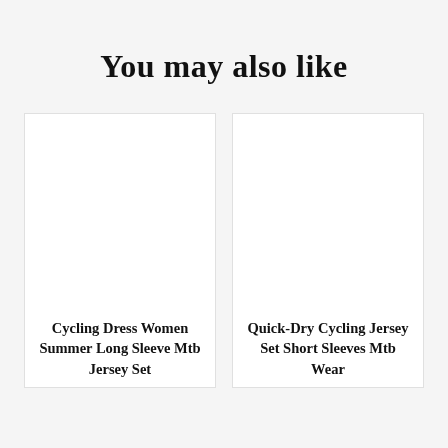You may also like
[Figure (other): Blank white product image placeholder for Cycling Dress Women Summer Long Sleeve Mtb Jersey Set]
Cycling Dress Women Summer Long Sleeve Mtb Jersey Set
[Figure (other): Blank white product image placeholder for Quick-Dry Cycling Jersey Set Short Sleeves Mtb Wear]
Quick-Dry Cycling Jersey Set Short Sleeves Mtb Wear